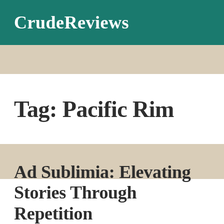CrudeReviews
Tag: Pacific Rim
Ad Sublimia: Elevating Stories Through Repetition